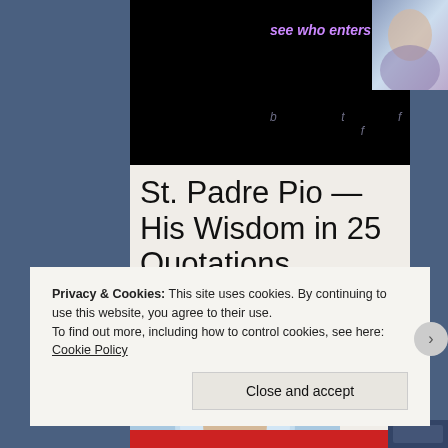[Figure (screenshot): Video thumbnail with dark background and purple italic text reading 'see who enters and leaves.' with a small portrait image in the top right corner]
St. Padre Pio — His Wisdom in 25 Quotations
[Figure (photo): Portrait of St. Padre Pio with a halo/circular light behind his head against a blue background]
Privacy & Cookies: This site uses cookies. By continuing to use this website, you agree to their use.
To find out more, including how to control cookies, see here: Cookie Policy
Close and accept